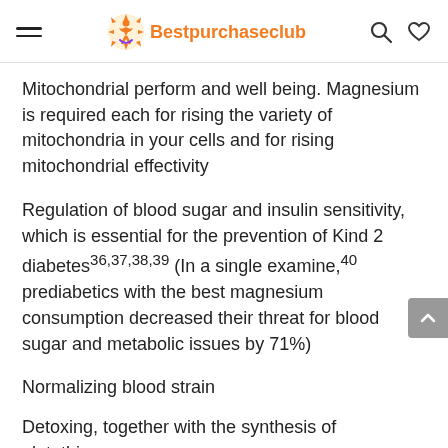Bestpurchaseclub
Mitochondrial perform and well being. Magnesium is required each for rising the variety of mitochondria in your cells and for rising mitochondrial effectivity
Regulation of blood sugar and insulin sensitivity, which is essential for the prevention of Kind 2 diabetes36,37,38,39 (In a single examine,40 prediabetics with the best magnesium consumption decreased their threat for blood sugar and metabolic issues by 71%)
Normalizing blood strain
Detoxing, together with the synthesis of glutathions...